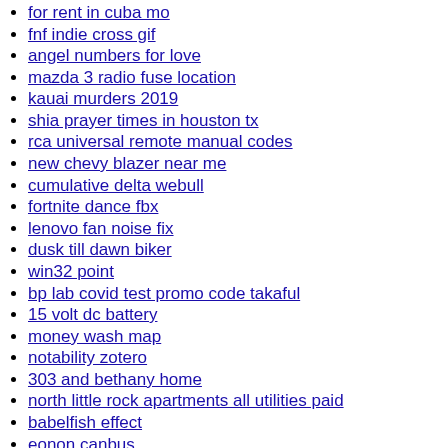for rent in cuba mo
fnf indie cross gif
angel numbers for love
mazda 3 radio fuse location
kauai murders 2019
shia prayer times in houston tx
rca universal remote manual codes
new chevy blazer near me
cumulative delta webull
fortnite dance fbx
lenovo fan noise fix
dusk till dawn biker
win32 point
bp lab covid test promo code takaful
15 volt dc battery
money wash map
notability zotero
303 and bethany home
north little rock apartments all utilities paid
babelfish effect
eonon canbus
paypal sign up bonus 2022
murfreesboro police non emergency number
whatsapp ss7 github
how to unlock galaxy a21